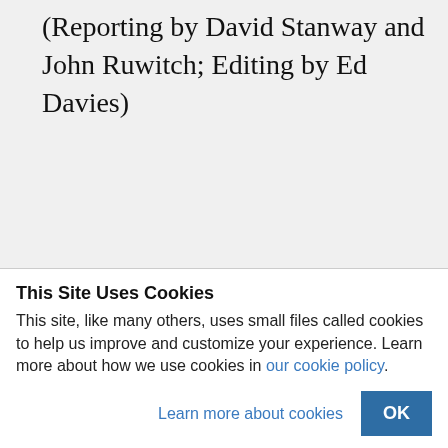(Reporting by David Stanway and John Ruwitch; Editing by Ed Davies)
This Site Uses Cookies
This site, like many others, uses small files called cookies to help us improve and customize your experience. Learn more about how we use cookies in our cookie policy.
Learn more about cookies
OK